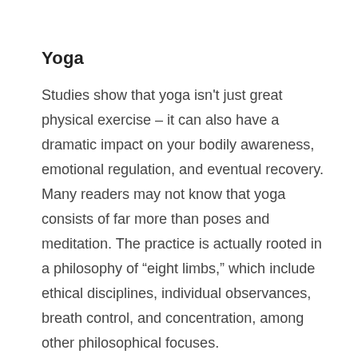Yoga
Studies show that yoga isn't just great physical exercise – it can also have a dramatic impact on your bodily awareness, emotional regulation, and eventual recovery. Many readers may not know that yoga consists of far more than poses and meditation. The practice is actually rooted in a philosophy of “eight limbs,” which include ethical disciplines, individual observances, breath control, and concentration, among other philosophical focuses.